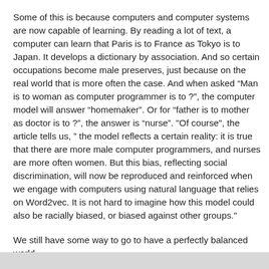Some of this is because computers and computer systems are now capable of learning. By reading a lot of text, a computer can learn that Paris is to France as Tokyo is to Japan. It develops a dictionary by association. And so certain occupations become male preserves, just because on the real world that is more often the case. And when asked “Man is to woman as computer programmer is to ?”, the computer model will answer “homemaker”. Or for “father is to mother as doctor is to ?”, the answer is “nurse”. "Of course", the article tells us, ” the model reflects a certain reality: it is true that there are more male computer programmers, and nurses are more often women. But this bias, reflecting social discrimination, will now be reproduced and reinforced when we engage with computers using natural language that relies on Word2vec. It is not hard to imagine how this model could also be racially biased, or biased against other groups."
We still have some way to go to have a perfectly balanced world.